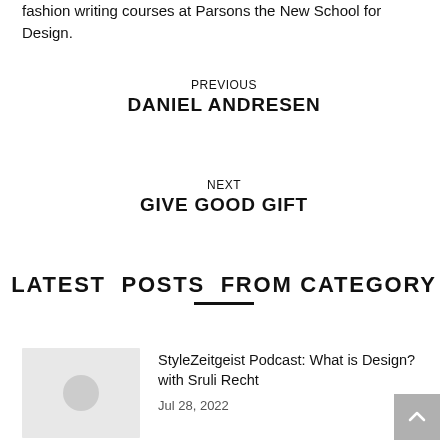fashion writing courses at Parsons the New School for Design.
PREVIOUS
DANIEL ANDRESEN
NEXT
GIVE GOOD GIFT
LATEST POSTS FROM CATEGORY
[Figure (photo): Thumbnail image placeholder with grey background and circle]
StyleZeitgeist Podcast: What is Design? with Sruli Recht
Jul 28, 2022